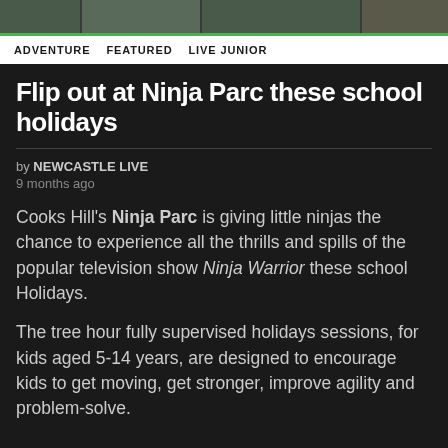[Figure (photo): Horizontal photo strip of people at Ninja Parc, showing action/activity shots with a green accent bar at the bottom]
ADVENTURE   FEATURED   LIVE JUNIOR
Flip out at Ninja Parc these school holidays
by NEWCASTLE LIVE
9 months ago
Cooks Hill's Ninja Parc is giving little ninjas the chance to experience all the thrills and spills of the popular television show Ninja Warrior these school Holidays.
The tree hour fully supervised holidays sessions, for kids aged 5-14 years, are designed to encourage kids to get moving, get stronger, improve agility and problem-solve.